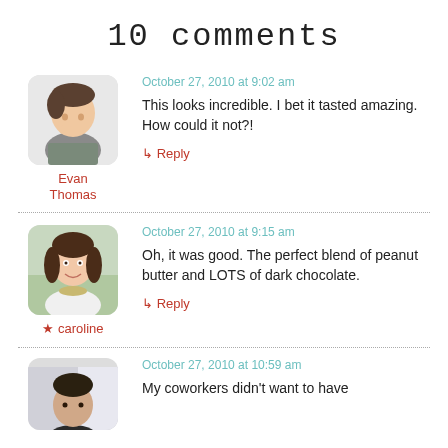10 comments
October 27, 2010 at 9:02 am
This looks incredible. I bet it tasted amazing. How could it not?!
↳ Reply
Evan Thomas
October 27, 2010 at 9:15 am
Oh, it was good. The perfect blend of peanut butter and LOTS of dark chocolate.
↳ Reply
★ caroline
October 27, 2010 at 10:59 am
My coworkers didn't want to have